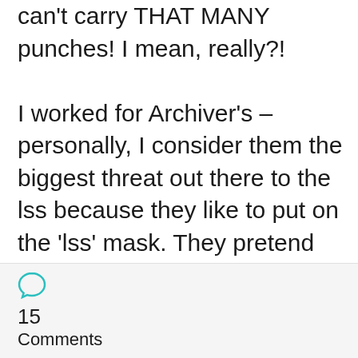can't carry THAT MANY punches! I mean, really?!

I worked for Archiver's – personally, I consider them the biggest threat out there to the lss because they like to put on the 'lss' mask. They pretend they are one and then, behind the scenes they discuss how they will take over the market and drive out the small stores. Not kidding. I was in management.
15 Comments